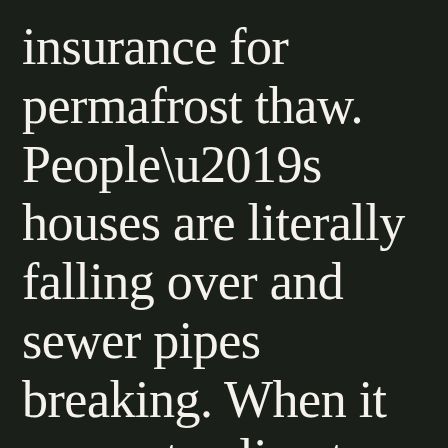insurance for permafrost thaw. People’s houses are literally falling over and sewer pipes breaking. When it comes to climate change, we need some big ideas and out-of-